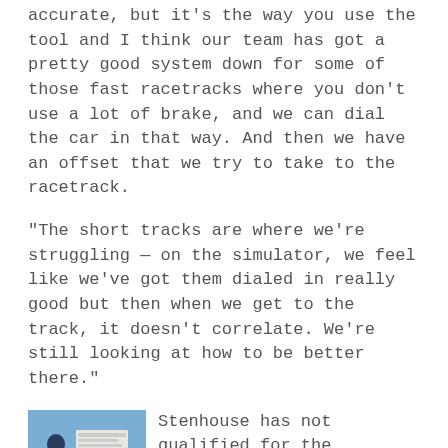accurate, but it's the way you use the tool and I think our team has got a pretty good system down for some of those fast racetracks where you don't use a lot of brake, and we can dial the car in that way. And then we have an offset that we try to take to the racetrack.
“The short tracks are where we’re struggling — on the simulator, we feel like we’ve got them dialed in really good but then when we get to the track, it doesn’t correlate. We’re still looking at how to be better there.”
[Figure (photo): Ricky Stenhouse Jr. photo at racetrack, driver in racing gear near car]
Stenhouse has not qualified for the postseason since 2017, when he won two races while driving for Jack Roush. Over the past three years, he’s failed to crack the top 20 in the final standings. It’s been a frustrating stint with the two-time Xfinity Series champion and former Cup Series Rookie of the Year feeling stagnant.
“I think everybody wants to do better; everybody wants to